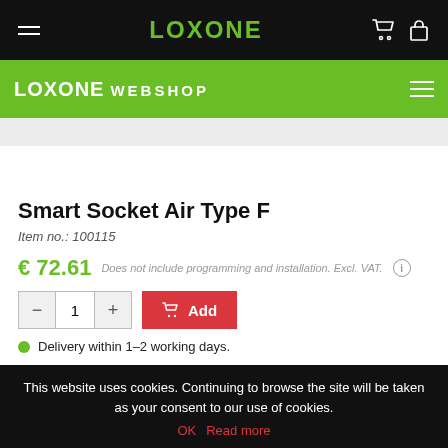LOXONE
LOXONE WEBSHOP
Smart Socket Air Type F
Item no.: 100115
€ 72.61 Does not include programming and installation. Excl. VAT.
1 Add
Delivery within 1–2 working days.
This website uses cookies. Continuing to browse the site will be taken as your consent to our use of cookies. OK Read more